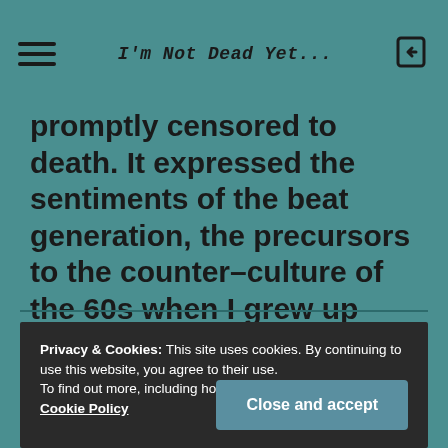I'm Not Dead Yet...
promptly censored to death. It expressed the sentiments of the beat generation, the precursors to the counter-culture of the 60s when I grew up and was exposed to all kinds of seditious and scandalous concepts.
Privacy & Cookies: This site uses cookies. By continuing to use this website, you agree to their use. To find out more, including how to control cookies, see here: Cookie Policy
Close and accept